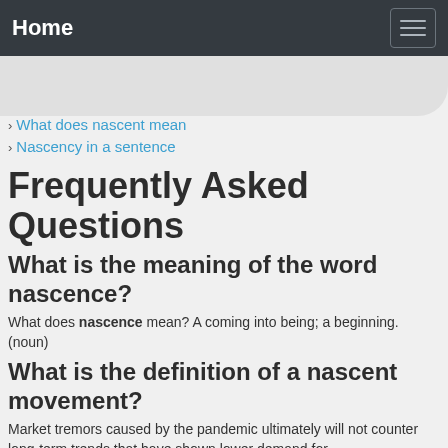Home
› What does nascent mean
› Nascency in a sentence
Frequently Asked Questions
What is the meaning of the word nascence?
What does nascence mean? A coming into being; a beginning. (noun)
What is the definition of a nascent movement?
Market tremors caused by the pandemic ultimately will not counter long-term trends that have shown lower demand for